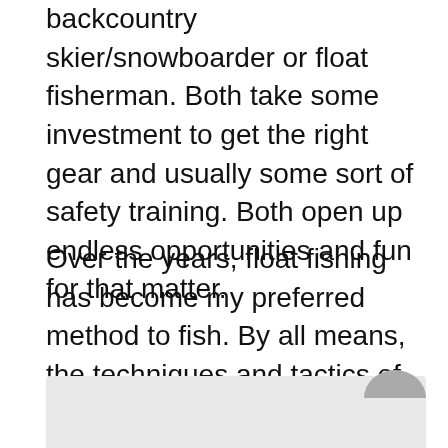backcountry skier/snowboarder or float fisherman. Both take some investment to get the right gear and usually some sort of safety training. Both open up endless opportunities and fun for that matter.
Over the years, float fishing has become my preferred method to fish. By all means, the techniques and tactics of float fishing are far different than wade fishing. I've learned various techniques and different tips from guides alike. So here are some fundamental tips that every angler should look to abide by out on the river when your fly fishing from a raft or drift boat.
[Figure (photo): Partial image strip at bottom of page with a partial circular icon visible at bottom right]